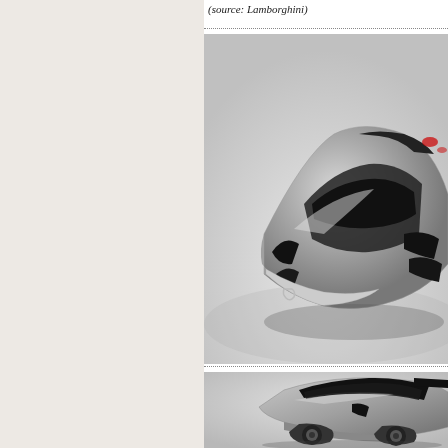(source: Lamborghini)
[Figure (photo): Front/top view of a silver Lamborghini sports car on a white background, showing angular design with dark accents]
[Figure (photo): Side/rear partial view of a silver Lamborghini sports car on a white background]